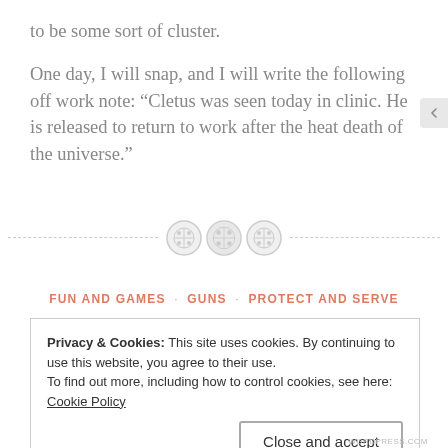to be some sort of cluster.
One day, I will snap, and I will write the following off work note: “Cletus was seen today in clinic. He is released to return to work after the heat death of the universe.”
[Figure (illustration): Three button-like circular icons separated by a dashed horizontal line acting as a section divider]
FUN AND GAMES · GUNS · PROTECT AND SERVE
Privacy & Cookies: This site uses cookies. By continuing to use this website, you agree to their use.
To find out more, including how to control cookies, see here: Cookie Policy
Close and accept
WORDPRESS.COM